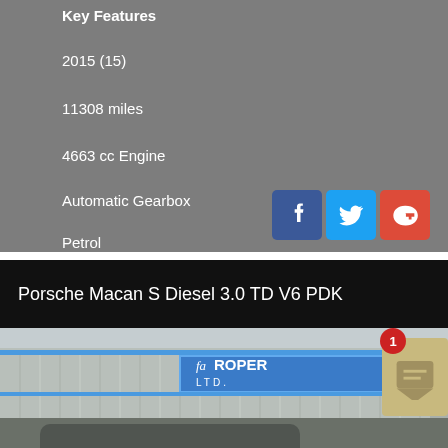Key Features
2015 (15)
11308 miles
4663 cc Engine
Automatic Gearbox
Petrol
x 23
[Figure (logo): Facebook, Twitter, and Google+ social sharing buttons]
Porsche Macan S Diesel 3.0 TD V6 PDK
[Figure (photo): Exterior photo of fa Roper Ltd. car dealership with a Porsche vehicle in the foreground]